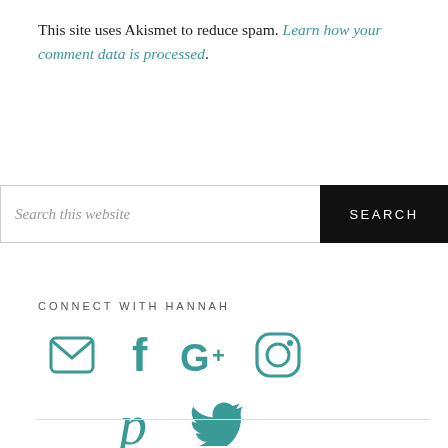This site uses Akismet to reduce spam. Learn how your comment data is processed.
[Figure (screenshot): Search input field with placeholder text 'Search this website' and a black SEARCH button]
CONNECT WITH HANNAH
[Figure (infographic): Social media icons: email envelope, Facebook f, Google+, Instagram camera, Pinterest p, Twitter bird — all in teal color]